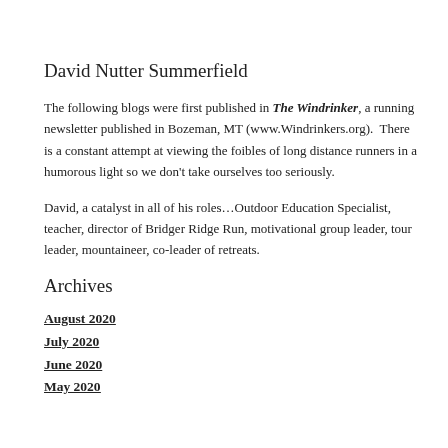David Nutter Summerfield
The following blogs were first published in The Windrinker, a running newsletter published in Bozeman, MT (www.Windrinkers.org).  There is a constant attempt at viewing the foibles of long distance runners in a humorous light so we don't take ourselves too seriously.
David, a catalyst in all of his roles…Outdoor Education Specialist, teacher, director of Bridger Ridge Run, motivational group leader, tour leader, mountaineer, co-leader of retreats.
Archives
August 2020
July 2020
June 2020
May 2020